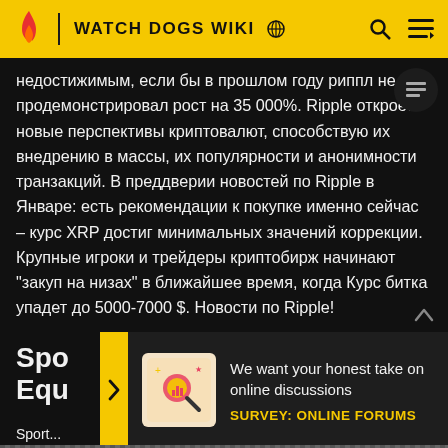WATCH DOGS WIKI
недостижимым, если бы в прошлом году риппл не продемонстрировал рост на 35 000%. Ripple откроет новые перспективы криптовалют, способствую их внедрению в массы, их популярности и анонимности транзакций. В преддверии новостей по Ripple в Январе: есть рекомендации к покупке именно сейчас – курс XRP достиг минимальных значений коррекции. Крупные игроки и трейдеры криптобирж начинают "закуп на низах" в ближайшее время, когда Курс битка упадет до 5000-7000 $. Новости по Ripple!
Spo... Equ...
[Figure (illustration): Survey card with magnifying glass and chart icon on yellow/pink background]
We want your honest take on online discussions
SURVEY: ONLINE FORUMS